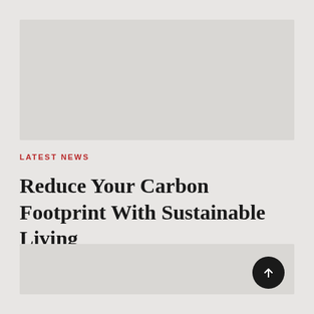[Figure (photo): Top image placeholder block, light grey rectangle]
LATEST NEWS
Reduce Your Carbon Footprint With Sustainable Living
[Figure (photo): Bottom image placeholder block, light grey rectangle]